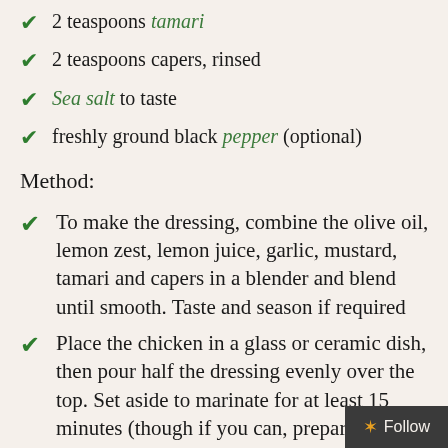2 teaspoons tamari
2 teaspoons capers, rinsed
Sea salt to taste
freshly ground black pepper (optional)
Method:
To make the dressing, combine the olive oil, lemon zest, lemon juice, garlic, mustard, tamari and capers in a blender and blend until smooth. Taste and season if required
Place the chicken in a glass or ceramic dish, then pour half the dressing evenly over the top. Set aside to marinate for at least 15 minutes (though if you can, prepare this in the morning or even the night before as it's had plenty of time...